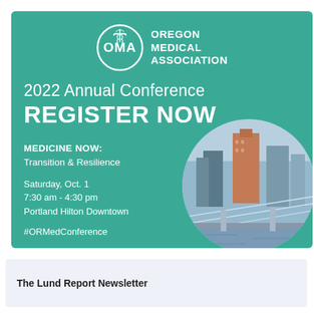[Figure (logo): Oregon Medical Association banner advertisement for 2022 Annual Conference with teal background, OMA logo, conference details, and circular city photo of Portland]
The Lund Report Newsletter